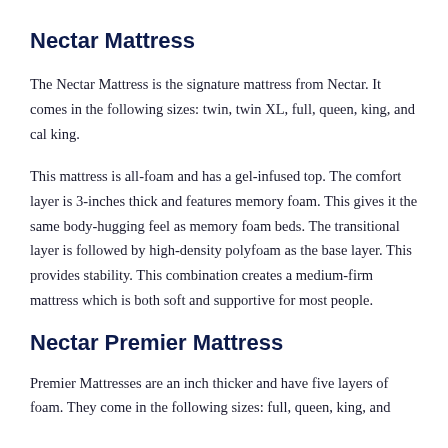Nectar Mattress
The Nectar Mattress is the signature mattress from Nectar. It comes in the following sizes: twin, twin XL, full, queen, king, and cal king.
This mattress is all-foam and has a gel-infused top. The comfort layer is 3-inches thick and features memory foam. This gives it the same body-hugging feel as memory foam beds. The transitional layer is followed by high-density polyfoam as the base layer. This provides stability. This combination creates a medium-firm mattress which is both soft and supportive for most people.
Nectar Premier Mattress
Premier Mattresses are an inch thicker and have five layers of foam. They come in the following sizes: full, queen, king, and cal king.